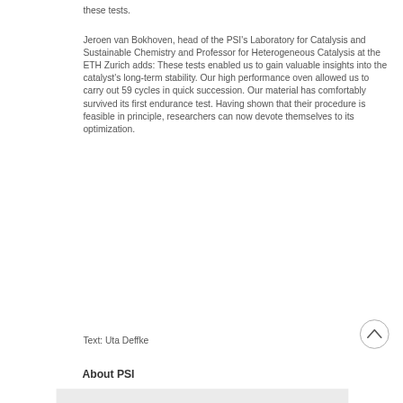these tests.
Jeroen van Bokhoven, head of the PSI's Laboratory for Catalysis and Sustainable Chemistry and Professor for Heterogeneous Catalysis at the ETH Zurich adds: These tests enabled us to gain valuable insights into the catalyst's long-term stability. Our high performance oven allowed us to carry out 59 cycles in quick succession. Our material has comfortably survived its first endurance test. Having shown that their procedure is feasible in principle, researchers can now devote themselves to its optimization.
Text: Uta Deffke
About PSI